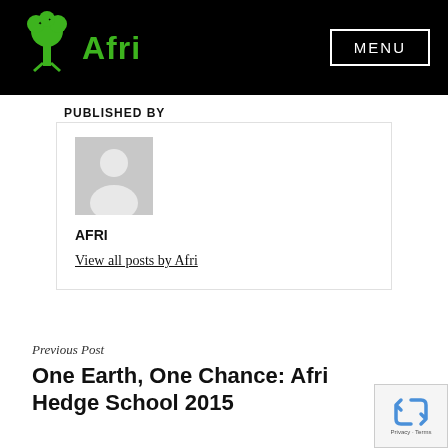Afri — MENU
PUBLISHED BY
[Figure (illustration): Generic grey avatar placeholder with person silhouette icon]
AFRI
View all posts by Afri
Previous Post
One Earth, One Chance: Afri Hedge School 2015
[Figure (logo): reCAPTCHA badge with blue recycle arrows icon and Privacy · Terms text]